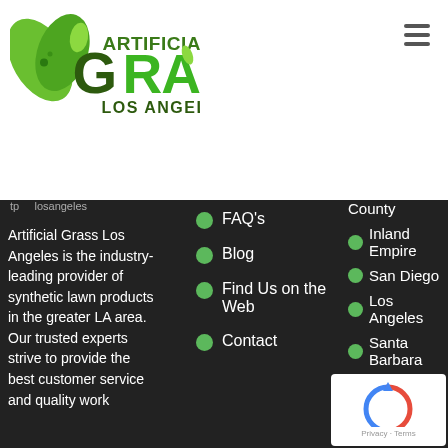[Figure (logo): Artificial Grass Los Angeles logo with green leaves and text]
Artificial Grass Los Angeles is the industry-leading provider of synthetic lawn products in the greater LA area. Our trusted experts strive to provide the best customer service and quality work
FAQ's
Blog
Find Us on the Web
Contact
County
Inland Empire
San Diego
Los Angeles
Santa Barbara
Santa Cruz
[Figure (other): Google reCAPTCHA badge with Privacy - Terms]